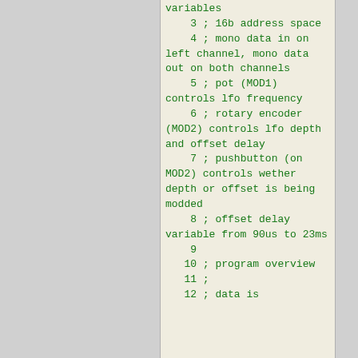variables
    3 ; 16b address space
    4 ; mono data in on left channel, mono data out on both channels
    5 ; pot (MOD1) controls lfo frequency
    6 ; rotary encoder (MOD2) controls lfo depth and offset delay
    7 ; pushbutton (on MOD2) controls wether depth or offset is being modded
    8 ; offset delay variable from 90us to 23ms
    9
   10 ; program overview
   11 ;
   12 ; data is